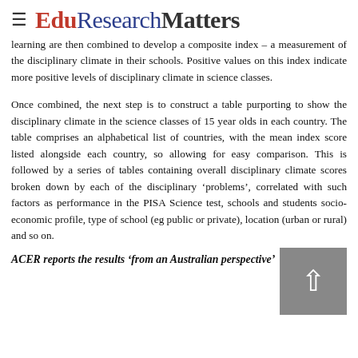EduResearchMatters
learning are then combined to develop a composite index – a measurement of the disciplinary climate in their schools. Positive values on this index indicate more positive levels of disciplinary climate in science classes.
Once combined, the next step is to construct a table purporting to show the disciplinary climate in the science classes of 15 year olds in each country. The table comprises an alphabetical list of countries, with the mean index score listed alongside each country, so allowing for easy comparison. This is followed by a series of tables containing overall disciplinary climate scores broken down by each of the disciplinary 'problems', correlated with such factors as performance in the PISA Science test, schools and students socio-economic profile, type of school (eg public or private), location (urban or rural) and so on.
ACER reports the results 'from an Australian perspective'